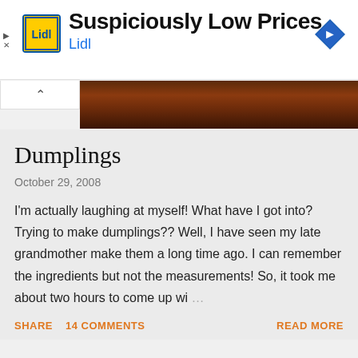[Figure (infographic): Lidl advertisement banner with yellow Lidl logo, text 'Suspiciously Low Prices' in bold, 'Lidl' in blue, and a blue navigation arrow icon on the right. Play and X controls on the far left.]
[Figure (photo): Partial photo showing a dark brown wooden surface or plank, visible in the upper right portion of the page below the ad.]
Dumplings
October 29, 2008
I'm actually laughing at myself! What have I got into? Trying to make dumplings?? Well, I have seen my late grandmother make them a long time ago. I can remember the ingredients but not the measurements! So, it took me about two hours to come up wi …
SHARE   14 COMMENTS   READ MORE